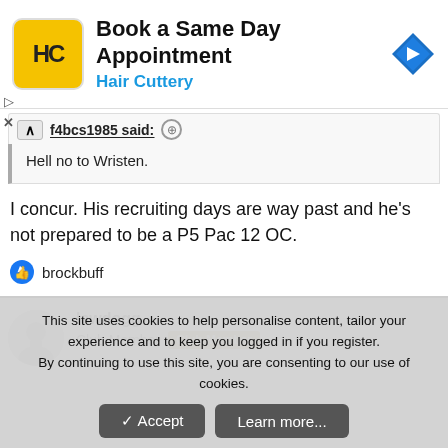[Figure (logo): Hair Cuttery advertisement banner with HC logo, text 'Book a Same Day Appointment / Hair Cuttery' and blue arrow navigation icon]
f4bcs1985 said:
Hell no to Wristen.
I concur. His recruiting days are way past and he's not prepared to be a P5 Pac 12 OC.
brockbuff
lawdogg
Club Member  Club Member
This site uses cookies to help personalise content, tailor your experience and to keep you logged in if you register.
By continuing to use this site, you are consenting to our use of cookies.